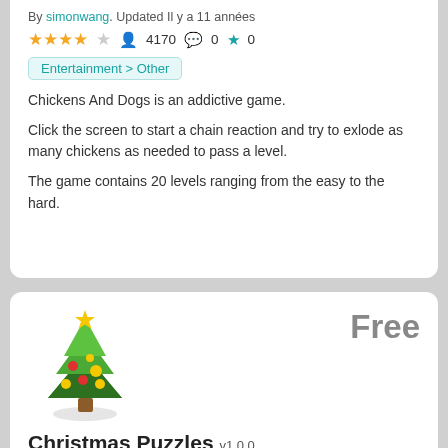By simonwang. Updated Il y a 11 années
★★★★☆ 4170 💬 0 ★ 0
Entertainment > Other
Chickens And Dogs is an addictive game.
Click the screen to start a chain reaction and try to exlode as many chickens as needed to pass a level.
The game contains 20 levels ranging from the easy to the hard.
[Figure (illustration): Christmas tree icon with decorations and star on top]
Free
Christmas Puzzles v1.0.0
By simonwang. Updated Il y a 11 années
★★☆☆☆ 7395 💬 0 ★ 0
Fun & Games > Other